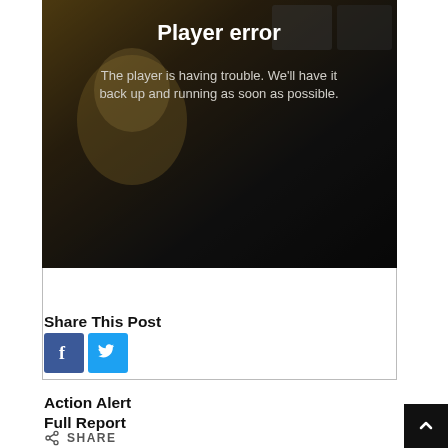[Figure (screenshot): Video player error screen showing 'Player error' title and message 'The player is having trouble. We'll have it back up and running as soon as possible.' on a dark background with animated/cartoon imagery.]
Action Alert
Full Report
Share This Post
[Figure (other): Facebook and Twitter share buttons (blue icons with f and bird logos)]
SHARE